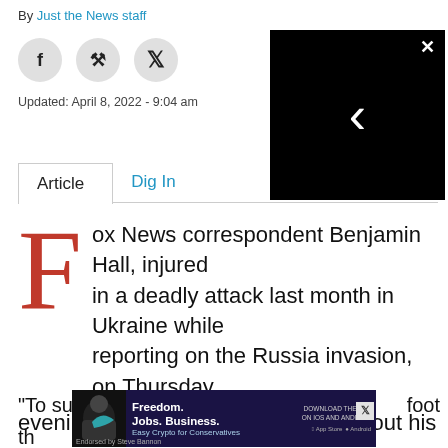By Just the News staff
Updated: April 8, 2022 - 9:04 am
[Figure (screenshot): Black video player box with loading spinner and close X button]
Article   Dig In
Fox News correspondent Benjamin Hall, injured in a deadly attack last month in Ukraine while reporting on the Russia invasion, on Thursday evening made a public statement about his severe injuries including those on both of his legs.
[Figure (infographic): Advertisement banner: Freedom. Jobs. Business. Easy Crypto for Conservatives]
"To su... foot